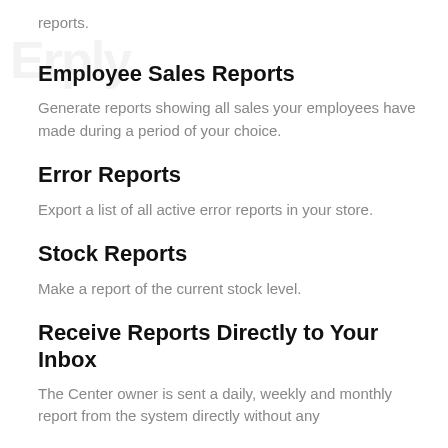reports.
Employee Sales Reports
Generate reports showing all sales your employees have made during a period of your choice.
Error Reports
Export a list of all active error reports in your store.
Stock Reports
Make a report of the current stock level.
Receive Reports Directly to Your Inbox
The Center owner is sent a daily, weekly and monthly report from the system directly without any